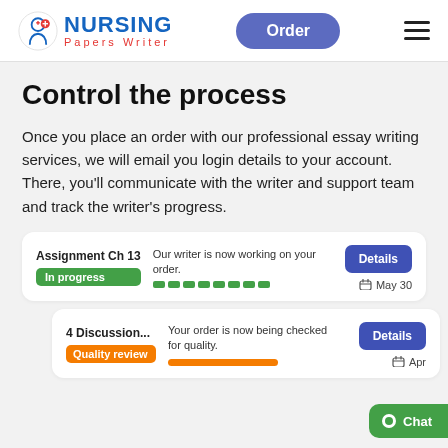NURSING Papers Writer — Order
Control the process
Once you place an order with our professional essay writing services, we will email you login details to your account. There, you'll communicate with the writer and support team and track the writer's progress.
[Figure (screenshot): Order card: Assignment Ch 13, In progress badge (green), status 'Our writer is now working on your order.', green dashed progress bar, Details button, May 30 date]
[Figure (screenshot): Order card: 4 Discussion..., Quality review badge (orange), status 'Your order is now being checked for quality.', orange progress bar, Details button, Apr date (partially cut)]
Chat